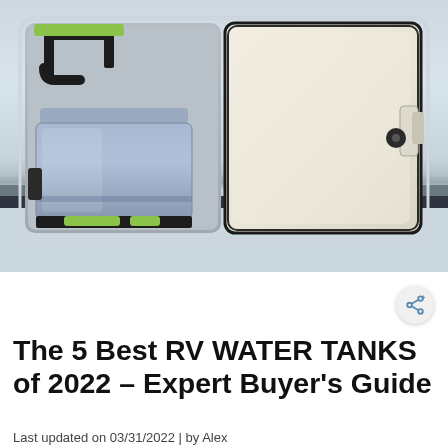[Figure (photo): Photograph of an open RV water tank access panel on the exterior of a white RV. The left compartment is open showing a blue portable water tank with black pipes/plumbing and green clips/handles. The right side shows the open door panel, cream/beige colored with black rubber seal and a latch mechanism.]
The 5 Best RV WATER TANKS of 2022 – Expert Buyer's Guide
Last updated on 03/31/2022 | by Alex...